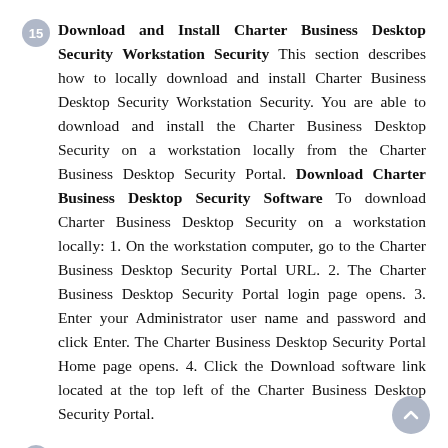15 Download and Install Charter Business Desktop Security Workstation Security This section describes how to locally download and install Charter Business Desktop Security Workstation Security. You are able to download and install the Charter Business Desktop Security on a workstation locally from the Charter Business Desktop Security Portal. Download Charter Business Desktop Security Software To download Charter Business Desktop Security on a workstation locally: 1. On the workstation computer, go to the Charter Business Desktop Security Portal URL. 2. The Charter Business Desktop Security Portal login page opens. 3. Enter your Administrator user name and password and click Enter. The Charter Business Desktop Security Portal Home page opens. 4. Click the Download software link located at the top left of the Charter Business Desktop Security Portal.
16 5. The download workstation software page opens. Click either Windows or Mac. 6. Several windows will open: The download window opens. Click Run. The Internet Explorer Security Warning window opens, asking if you want to run the software. Click Run. The User Account